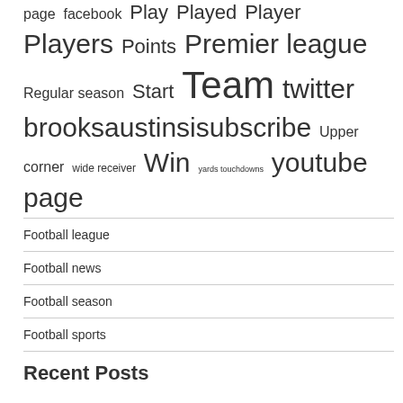page facebook Play Played Player Players Points Premier league Regular season Start Team twitter brooksaustinsisubscribe Upper corner wide receiver Win yards touchdowns youtube page
Football league
Football news
Football season
Football sports
Recent Posts